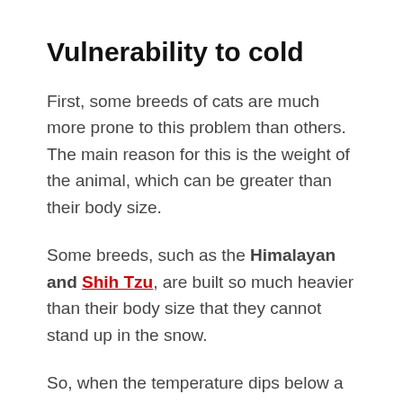Vulnerability to cold
First, some breeds of cats are much more prone to this problem than others. The main reason for this is the weight of the animal, which can be greater than their body size.
Some breeds, such as the Himalayan and Shih Tzu, are built so much heavier than their body size that they cannot stand up in the snow.
So, when the temperature dips below a certain point, they will freeze.
However, some of the more common breeds that...